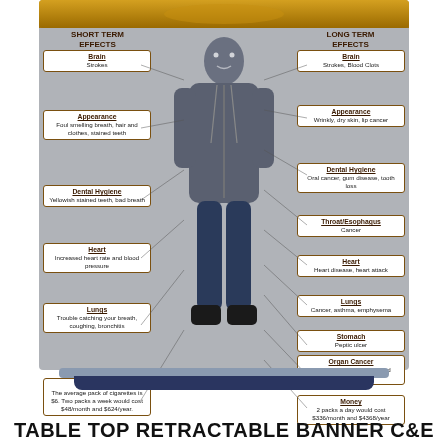[Figure (infographic): Retractable table-top banner stand displaying an infographic about the short-term and long-term effects of smoking/tobacco use. Center shows a young man in a hoodie. Left column lists Short Term Effects: Brain (Strokes), Appearance (Foul smelling breath, hair and clothes, stained teeth), Dental Hygiene (Yellowish stained teeth, bad breath), Heart (Increased heart rate and blood pressure), Lungs (Trouble catching your breath, coughing, bronchitis), Money (The average pack of cigarettes is $6. Two packs a week would cost $48/month and $624/year). Right column lists Long Term Effects: Brain (Strokes, Blood Clots), Appearance (Wrinkly, dry skin, lip cancer), Dental Hygiene (Oral cancer, gum disease, tooth loss), Throat/Esophagus (Cancer), Heart (Heart disease, heart attack), Lungs (Cancer, asthma, emphysema), Stomach (Peptic ulcer), Organ Cancer (Cancer of lungs, bladder and pancreas), Money (2 packs a day would cost $336/month and $4368/year).]
TABLE TOP RETRACTABLE BANNER C&E